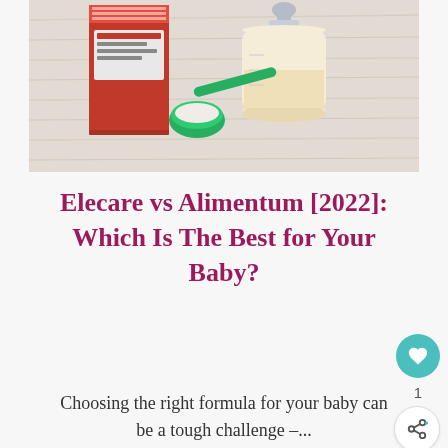[Figure (photo): Baby formula photo showing a red formula box, a baby bottle filled with formula, and a green measuring scoop with white powder on a light wooden surface.]
Elecare vs Alimentum [2022]: Which Is The Best for Your Baby?
Choosing the right formula for your baby can be a tough challenge –...